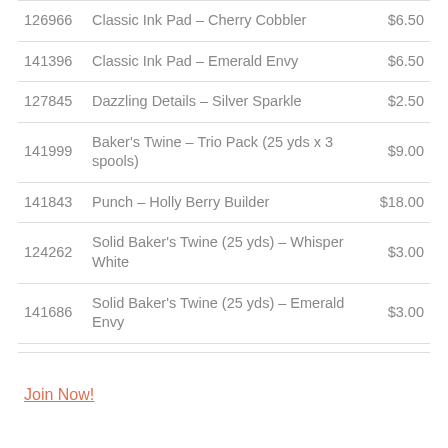| Item # | Description | Price |
| --- | --- | --- |
| 126966 | Classic Ink Pad – Cherry Cobbler | $6.50 |
| 141396 | Classic Ink Pad – Emerald Envy | $6.50 |
| 127845 | Dazzling Details – Silver Sparkle | $2.50 |
| 141999 | Baker's Twine – Trio Pack (25 yds x 3 spools) | $9.00 |
| 141843 | Punch – Holly Berry Builder | $18.00 |
| 124262 | Solid Baker's Twine (25 yds) – Whisper White | $3.00 |
| 141686 | Solid Baker's Twine (25 yds) – Emerald Envy | $3.00 |
Join Now!